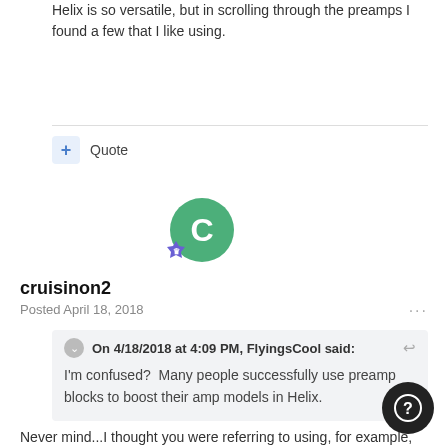Helix is so versatile, but in scrolling through the preamps I found a few that I like using.
Quote
[Figure (illustration): Green circle avatar with letter C and a small purple badge icon below-left]
cruisinon2
Posted April 18, 2018
On 4/18/2018 at 4:09 PM, FlyingsCool said:
I'm confused?  Many people successfully use preamp blocks to boost their amp models in Helix.
Never mind...I thought you were referring to using, for example, one of the Marshall preamp-only models in front of another full amp model... that's gonna get ugly.